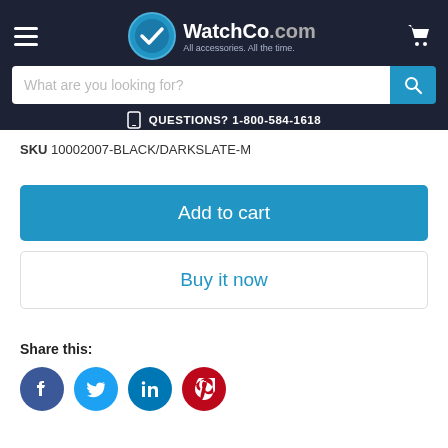[Figure (screenshot): WatchCo.com website header with logo, hamburger menu, cart icon, search bar, and phone number]
SKU 10002007-BLACK/DARKSLATE-M
Add to cart
Buy it now
Share this:
[Figure (illustration): Social media icons: Facebook, Twitter, LinkedIn, Pinterest]